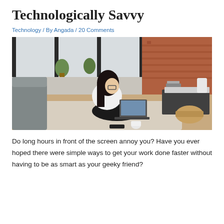Technologically Savvy
Technology / By Angada / 20 Comments
[Figure (photo): Woman sitting on the floor leaning against a sofa, working on a laptop computer in a modern living room with large windows and a coffee table nearby.]
Do long hours in front of the screen annoy you? Have you ever hoped there were simple ways to get your work done faster without having to be as smart as your geeky friend?